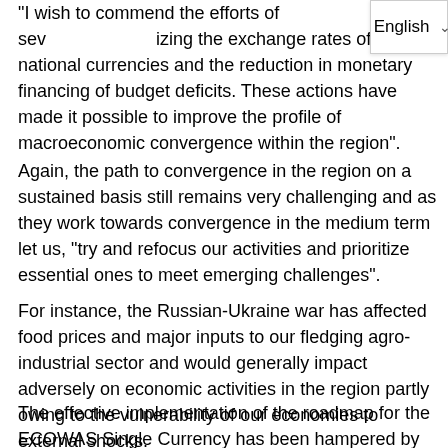“I wish to commend the efforts of sev…izing the exchange rates of national currencies and the reduction in monetary financing of budget deficits. These actions have made it possible to improve the profile of macroeconomic convergence within the region”.
Again, the path to convergence in the region on a sustained basis still remains very challenging and as they work towards convergence in the medium term let us, “try and refocus our activities and prioritize essential ones to meet emerging challenges”.
For instance, the Russian-Ukraine war has affected food prices and major inputs to our fledging agro-    industrial sector and would generally impact adversely on economic activities in the region partly owing to the vulnerability of our economies to external shocks.
The effective implementation of the roadmap for the ECOWAS Single Currency has been hampered by inadequate funding and limited technical capacity to ensure timely implementation of the core